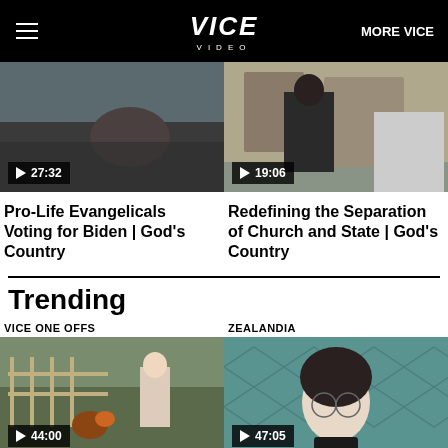VICE VIDEO — MORE VICE
[Figure (screenshot): Video thumbnail: person lying down, duration 27:32]
Pro-Life Evangelicals Voting for Biden | God's Country
[Figure (screenshot): Video thumbnail: person in 'God is my plug' shirt, duration 19:06]
Redefining the Separation of Church and State | God's Country
Trending
VICE ONE OFFS
[Figure (screenshot): Video thumbnail: cockfighting scene, duration 44:00]
ZEALANDIA
[Figure (screenshot): Video thumbnail: man with glasses in front of teal wall, duration 47:05]